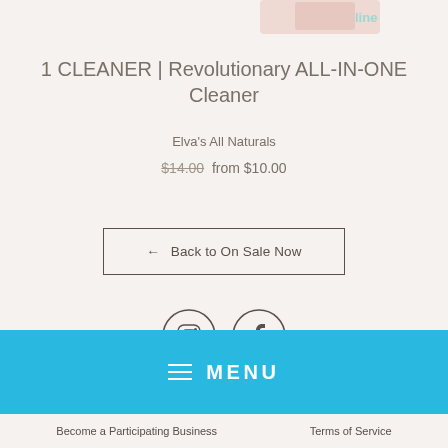[Figure (photo): Partial product image at top of page, showing a pink/rose-colored cleaner bottle]
1 CLEANER | Revolutionary ALL-IN-ONE Cleaner
Elva's All Naturals
$14.00  from $10.00
← Back to On Sale Now
[Figure (illustration): Instagram and Facebook social media icons in circular outlines]
MENU
Become a Participating Business    Terms of Service